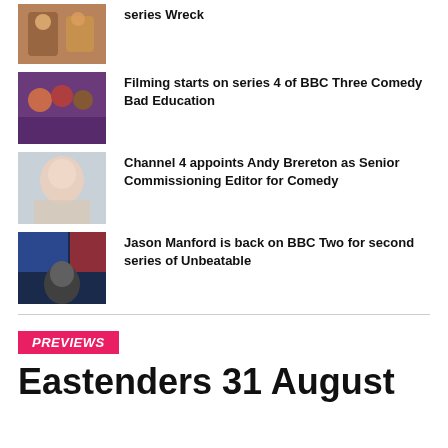[Figure (photo): Cast photo from the TV series Wreck]
series Wreck
[Figure (photo): Cast photo from BBC Three Comedy Bad Education]
Filming starts on series 4 of BBC Three Comedy Bad Education
[Figure (photo): Headshot of Andy Brereton]
Channel 4 appoints Andy Brereton as Senior Commissioning Editor for Comedy
[Figure (photo): Jason Manford promotional photo for BBC Two's Unbeatable]
Jason Manford is back on BBC Two for second series of Unbeatable
PREVIEWS
Eastenders 31 August